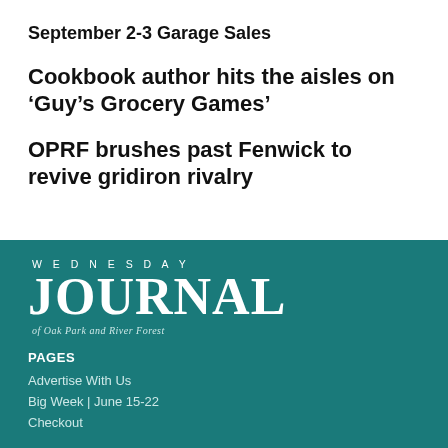September 2-3 Garage Sales
Cookbook author hits the aisles on ‘Guy’s Grocery Games’
OPRF brushes past Fenwick to revive gridiron rivalry
[Figure (logo): Wednesday Journal of Oak Park and River Forest logo, white text on teal background]
PAGES
Advertise With Us
Big Week | June 15-22
Checkout